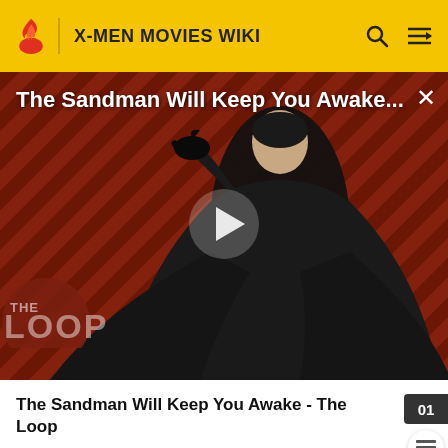X-MEN MOVIES WIKI
[Figure (screenshot): Video thumbnail for 'The Sandman Will Keep You Awake...' showing a figure in black on a red/black diagonal striped background with The Loop branding and a play button overlay]
The Sandman Will Keep You Awake - The Loop
mutant offspring. Built out of a space-age polymer, the Sentinel Mark I model measured 18 feet tall and weighed approximately 4,800 lbs, being equipped with Dual Trask...